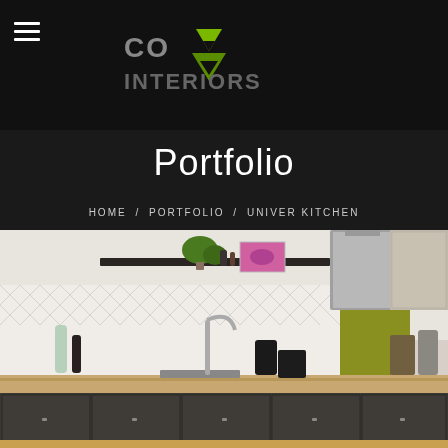CO INTERIORS (logo with green triangle)
Portfolio
HOME / PORTFOLIO / UNIVER KITCHEN
[Figure (photo): Interior kitchen photo showing modern kitchen with dark cabinets, wood countertop, white diamond-pattern tile backsplash, stainless steel faucet, range hood, olive green accent panel, and various kitchen appliances and items on the counter]